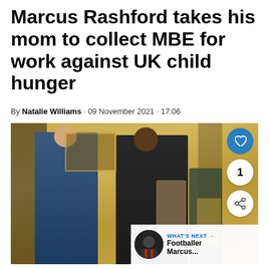Marcus Rashford takes his mom to collect MBE for work against UK child hunger
By Natalie Williams · 09 November 2021 · 17:06
[Figure (photo): Marcus Rashford receiving his MBE award in a formal ceremony room with gold decor. A man in military uniform pins the medal. Other officials stand in the background.]
Marcus Rashford Made MBE for work againt child hunger